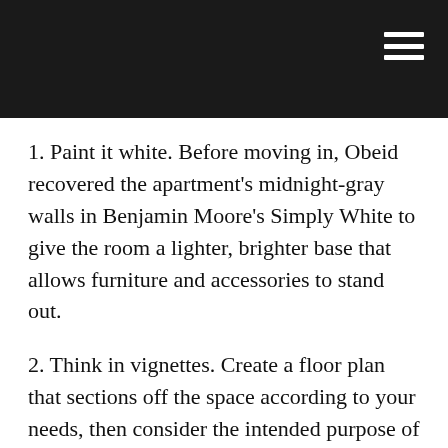1. Paint it white. Before moving in, Obeid recovered the apartment's midnight-gray walls in Benjamin Moore's Simply White to give the room a lighter, brighter base that allows furniture and accessories to stand out.
2. Think in vignettes. Create a floor plan that sections off the space according to your needs, then consider the intended purpose of each area. “There were two ‘musts’ that I needed the floor plan to accomplish: a place to sit and have dinner with a friend, and a pair of bedside tables flanking a bed that wasn’t squeezed into a corner,” says Obeid. “The light-filled seating area by the window is where I’ll have friends over for drinks.”